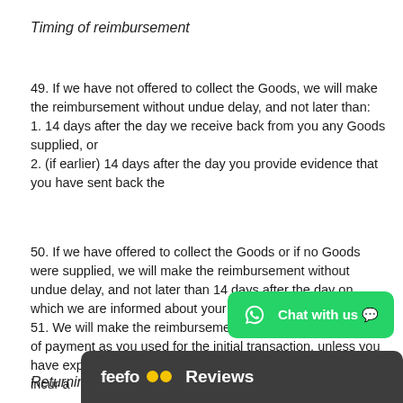Timing of reimbursement
49. If we have not offered to collect the Goods, we will make the reimbursement without undue delay, and not later than:
1. 14 days after the day we receive back from you any Goods supplied, or
2. (if earlier) 14 days after the day you provide evidence that you have sent back the
50. If we have offered to collect the Goods or if no Goods were supplied, we will make the reimbursement without undue delay, and not later than 14 days after the day on which we are informed about your decision to cancel this
51. We will make the reimbursement using the same means of payment as you used for the initial transaction, unless you have expressly agreed otherwise; in any event, you will not incur a
Returning Goods
[Figure (screenshot): WhatsApp Chat with us button overlay]
[Figure (screenshot): Feefo Reviews bar overlay]